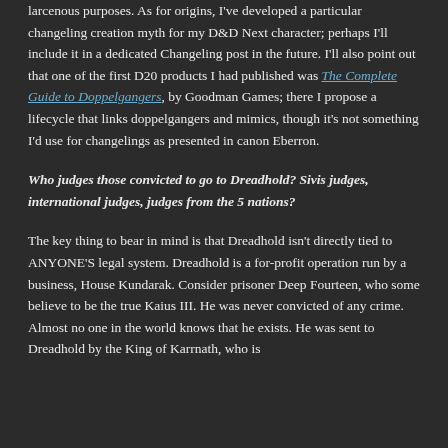larcenous purposes. As for origins, I've developed a particular changeling creation myth for my D&D Next character; perhaps I'll include it in a dedicated Changeling post in the future. I'll also point out that one of the first D20 products I had published was The Complete Guide to Doppelgangers, by Goodman Games; there I propose a lifecycle that links doppelgangers and mimics, though it's not something I'd use for changelings as presented in canon Eberron.
Who judges those convicted to go to Dreadhold? Sivis judges, international judges, judges from the 5 nations?
The key thing to bear in mind is that Dreadhold isn't directly tied to ANYONE'S legal system. Dreadhold is a for-profit operation run by a business, House Kundarak. Consider prisoner Deep Fourteen, who some believe to be the true Kaius III. He was never convicted of any crime. Almost no one in the world knows that he exists. He was sent to Dreadhold by the King of Karrnath, who is